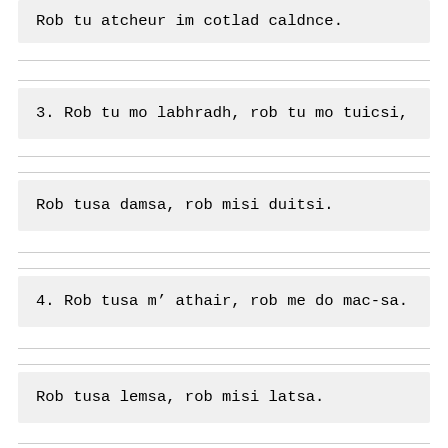Rob tu atcheur im cotlad caldnce.
3. Rob tu mo labhradh, rob tu mo tuicsi,
Rob tusa damsa, rob misi duitsi.
4. Rob tusa m’ athair, rob me do mac-sa.
Rob tusa lemsa, rob misi latsa.